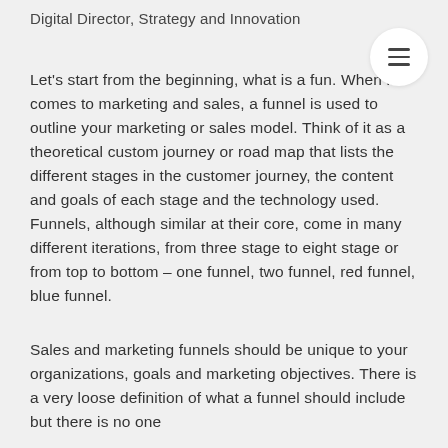Digital Director, Strategy and Innovation
Let's start from the beginning, what is a fun. When it comes to marketing and sales, a funnel is used to outline your marketing or sales model. Think of it as a theoretical custom journey or road map that lists the different stages in the customer journey, the content and goals of each stage and the technology used. Funnels, although similar at their core, come in many different iterations, from three stage to eight stage or from top to bottom – one funnel, two funnel, red funnel, blue funnel.
Sales and marketing funnels should be unique to your organizations, goals and marketing objectives. There is a very loose definition of what a funnel should include but there is no one